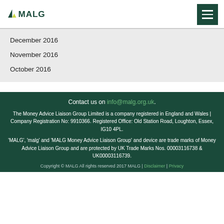MALG
December 2016
November 2016
October 2016
Contact us on info@malg.org.uk.
The Money Advice Liaison Group Limited is a company registered in England and Wales | Company Registration No: 9910366. Registered Office: Old Station Road, Loughton, Essex, IG10 4PL.
'MALG', 'malg' and 'MALG Money Advice Liaison Group' and device are trade marks of Money Advice Liaison Group and are protected by UK Trade Marks Nos. 00003116738 & UK00003116739.
Copyright © MALG All rights reserved 2017 MALG | Disclaimer | Privacy